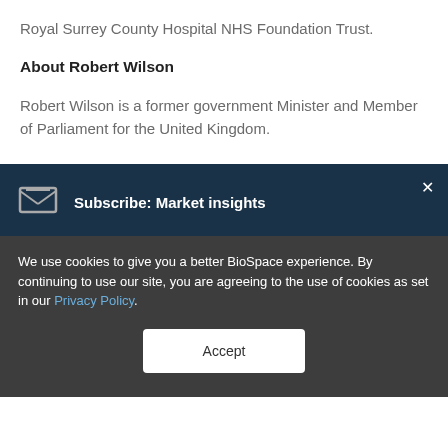Royal Surrey County Hospital NHS Foundation Trust.
About Robert Wilson
Robert Wilson is a former government Minister and Member of Parliament for the United Kingdom.
Subscribe: Market insights
We use cookies to give you a better BioSpace experience. By continuing to use our site, you are agreeing to the use of cookies as set in our Privacy Policy.
Accept